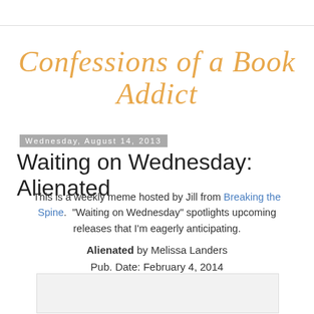Confessions of a Book Addict
Wednesday, August 14, 2013
Waiting on Wednesday: Alienated
This is a weekly meme hosted by Jill from Breaking the Spine. "Waiting on Wednesday" spotlights upcoming releases that I'm eagerly anticipating.
Alienated by Melissa Landers
Pub. Date: February 4, 2014
[Figure (photo): Book cover image placeholder]